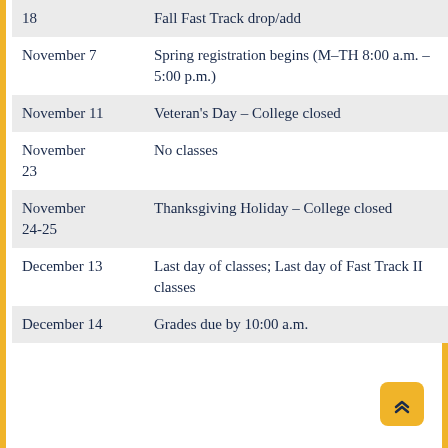| Date | Event |
| --- | --- |
| 18 | Fall Fast Track drop/add |
| November 7 | Spring registration begins (M–TH 8:00 a.m. – 5:00 p.m.) |
| November 11 | Veteran's Day – College closed |
| November 23 | No classes |
| November 24-25 | Thanksgiving Holiday – College closed |
| December 13 | Last day of classes; Last day of Fast Track II classes |
| December 14 | Grades due by 10:00 a.m. |